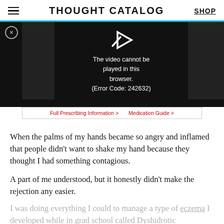THOUGHT CATALOG | SHOP
[Figure (screenshot): Video player showing error message: 'The video cannot be played in this browser. (Error Code: 242632)']
Full Prescribing Information > | Medication Guide >
When the palms of my hands became so angry and inflamed that people didn’t want to shake my hand because they thought I had something contagious.
A part of me understood, but it honestly didn’t make the rejection any easier.
I was doing everything I could to manage a type of eczema I developed while in grad school called Dyshidrotic